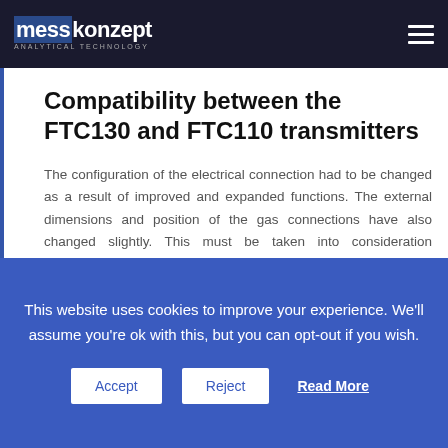messkonzept ANALYTICAL TECHNOLOGY
Compatibility between the FTC130 and FTC110 transmitters
The configuration of the electrical connection had to be changed as a result of improved and expanded functions. The external dimensions and position of the gas connections have also changed slightly. This must be taken into consideration particularly when buying a replacement for the FTC110.
Upon request, we are able to send a scale drawing with
This website uses cookies to improve your experience. We'll assume you're ok with this, but you can opt-out if you wish.